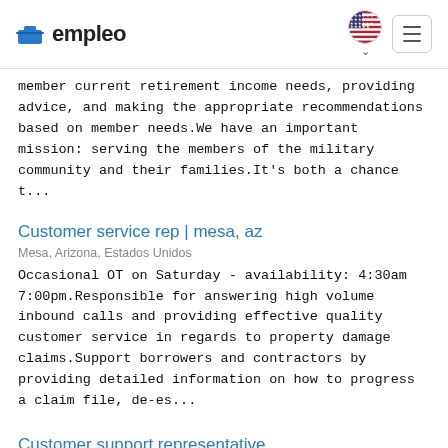empleo
member current retirement income needs, providing advice, and making the appropriate recommendations based on member needs.We have an important mission: serving the members of the military community and their families.It's both a chance t...
Customer service rep | mesa, az
Mesa, Arizona, Estados Unidos
Occasional OT on Saturday - availability: 4:30am 7:00pm.Responsible for answering high volume inbound calls and providing effective quality customer service in regards to property damage claims.Support borrowers and contractors by providing detailed information on how to progress a claim file, de-es...
Customer support representative